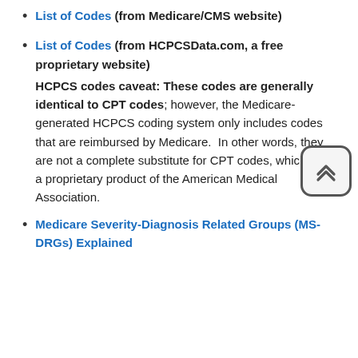List of Codes (from Medicare/CMS website)
List of Codes (from HCPCSData.com, a free proprietary website) HCPCS codes caveat: These codes are generally identical to CPT codes; however, the Medicare-generated HCPCS coding system only includes codes that are reimbursed by Medicare. In other words, they are not a complete substitute for CPT codes, which are a proprietary product of the American Medical Association.
Medicare Severity-Diagnosis Related Groups (MS-DRGs) Explained